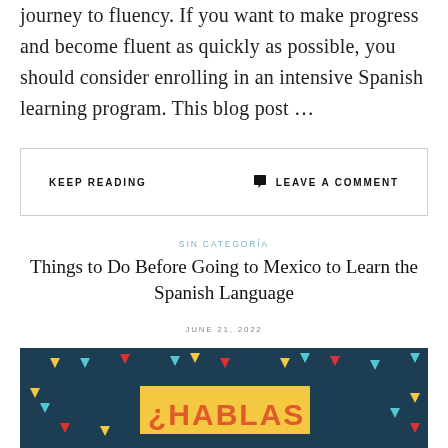journey to fluency. If you want to make progress and become fluent as quickly as possible, you should consider enrolling in an intensive Spanish learning program. This blog post …
KEEP READING
💬 LEAVE A COMMENT
SIN CATEGORÍA
Things to Do Before Going to Mexico to Learn the Spanish Language
JUNE 21, 2022
[Figure (photo): Dark teal background with colorful triangle confetti shapes. A yellow box in the center contains the orange bold text '¿HABLAS']